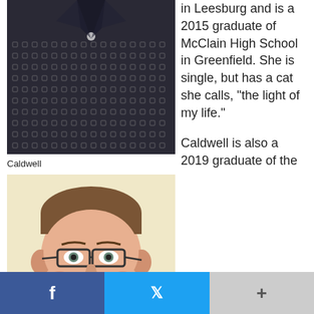[Figure (photo): Photo of a person wearing a dark patterned shirt with small square designs, cropped at chest/neck level]
Caldwell
[Figure (photo): Close-up headshot of a man with short brown hair wearing glasses, against a light yellow background]
in Leesburg and is a 2015 graduate of McClain High School in Greenfield. She is single, but has a cat she calls, “the light of my life.”
Caldwell is also a 2019 graduate of the